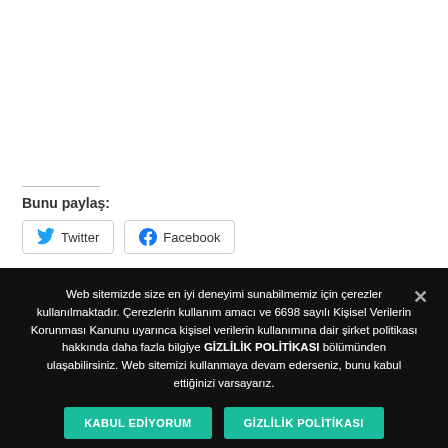Bunu paylaş:
[Figure (other): Twitter share button with Twitter bird icon]
[Figure (other): Facebook share button with Facebook icon]
Web sitemizde size en iyi deneyimi sunabilmemiz için çerezler kullanılmaktadır. Çerezlerin kullanım amacı ve 6698 sayılı Kişisel Verilerin Korunması Kanunu uyarınca kişisel verilerin kullanımına dair şirket politikası hakkında daha fazla bilgiye GİZLİLİK POLİTİKASI bölümünden ulaşabilirsiniz. Web sitemizi kullanmaya devam ederseniz, bunu kabul ettiğinizi varsayarız.
KABUL EDİYORUM
GİZLİLİK POLİTİKASI